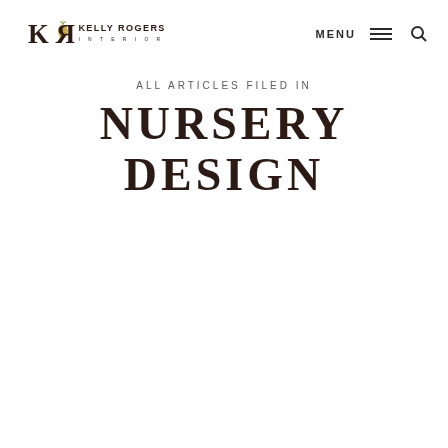Kelly Rogers Interiors — MENU
ALL ARTICLES FILED IN
NURSERY DESIGN